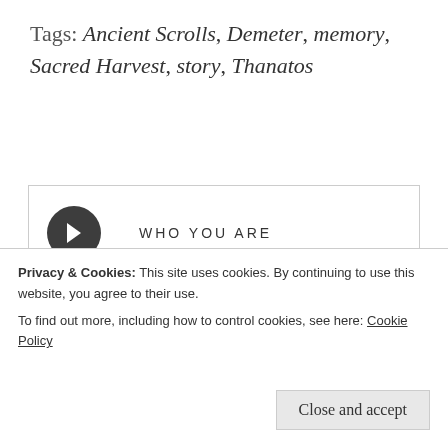Tags: Ancient Scrolls, Demeter, memory, Sacred Harvest, story, Thanatos
→ WHO YOU ARE
AT HOME WITH FAMILY ←
CONNECT WITH THE PANTHEON
Privacy & Cookies: This site uses cookies. By continuing to use this website, you agree to their use. To find out more, including how to control cookies, see here: Cookie Policy
Close and accept